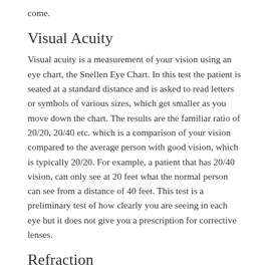come.
Visual Acuity
Visual acuity is a measurement of your vision using an eye chart, the Snellen Eye Chart. In this test the patient is seated at a standard distance and is asked to read letters or symbols of various sizes, which get smaller as you move down the chart. The results are the familiar ratio of 20/20, 20/40 etc. which is a comparison of your vision compared to the average person with good vision, which is typically 20/20. For example, a patient that has 20/40 vision, can only see at 20 feet what the normal person can see from a distance of 40 feet. This test is a preliminary test of how clearly you are seeing in each eye but it does not give you a prescription for corrective lenses.
Refraction
Those who don’t have 20/20 vision have what is referred to in most cases as a “Refractive Error.” The patient may have nearsightedness, farsightedness, astigmatism or other eye conditions that prevent the patient from seeing 20/20. A refraction will tell the doctor which prescription lenses will correct your eyesight to achieve 20/20 vision or